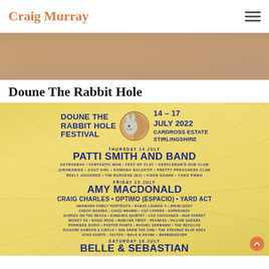Craig Murray
[Figure (photo): Close-up photo of skin/body, warm tones, cropped view]
Doune The Rabbit Hole
[Figure (infographic): Doune The Rabbit Hole Festival poster. 14-17 July 2022, Cardross Estate, Stirlingshire. Thursday 14 July: Patti Smith and Band. Astrosnax, Fantastic Man, Feet of Clay, Gentleman's Dub Club, Girobabies, Goat Girl, Komodo Kolektif, Pretty Preachers Club, Reely Jiggered, Tim Burgess (DJ), Vixen Sound, Yoko Pwno. Friday 15 July: Amy Macdonald. Craig Charles, Optimo (Espacio), Yard Act. Awkward Family Portraits, Banjo Lounge 4, Bikini Body, Check Masses, Chizu Nnamdi, Cut Capers, Esperanza, Horses on the Beach, Kinnaris Quintet, Los Chichanos, Mad Ferret, Mickey 9s, Nadia Rose, Nubiyan Twist, Peaness, Pillow Queens, Porridge Radio, Poster Paints, Rachel Sermanni, The Rezillos, Richard Dawson & Circle, She Drew the Gun, The Strange Blue Dream, Utah Saints, Valtos, Walk N Skank, Warmduscher. Saturday 16 July: Belle & Sebastian.]